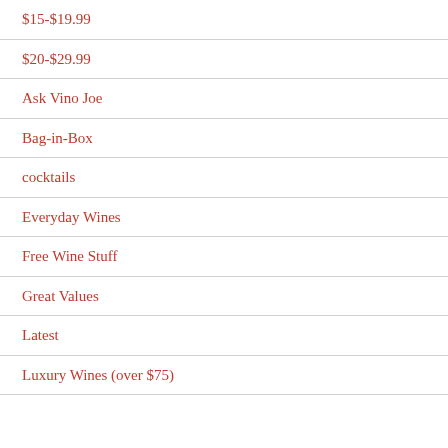$15-$19.99
$20-$29.99
Ask Vino Joe
Bag-in-Box
cocktails
Everyday Wines
Free Wine Stuff
Great Values
Latest
Luxury Wines (over $75)